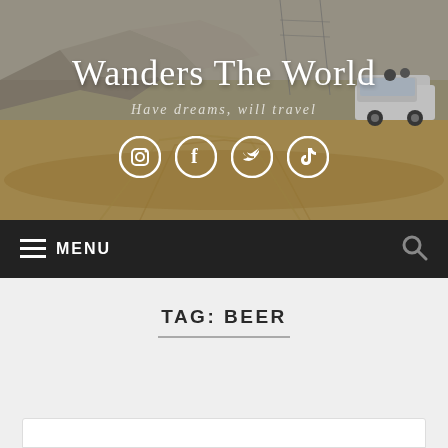[Figure (photo): Desert landscape with sandy road and rocky hills, a white SUV/truck vehicle visible on the right side, with power lines overhead. Background for a travel blog header.]
Wanders The World
Have dreams, will travel
[Figure (infographic): Four social media icons in white circles: Instagram, Facebook, Twitter/X, TikTok]
MENU
TAG: BEER